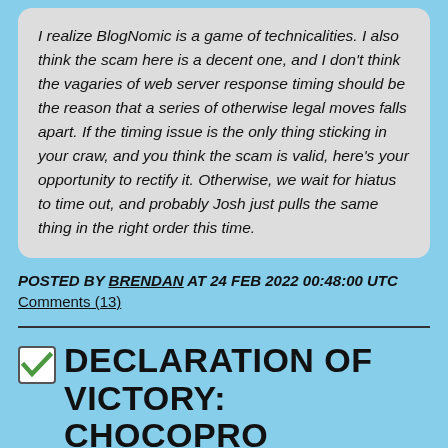I realize BlogNomic is a game of technicalities. I also think the scam here is a decent one, and I don't think the vagaries of web server response timing should be the reason that a series of otherwise legal moves falls apart. If the timing issue is the only thing sticking in your craw, and you think the scam is valid, here's your opportunity to rectify it. Otherwise, we wait for hiatus to time out, and probably Josh just pulls the same thing in the right order this time.
POSTED BY BRENDAN AT 24 FEB 2022 00:48:00 UTC   Comments (13)
DECLARATION OF VICTORY: CHOCOPRO JANKEN